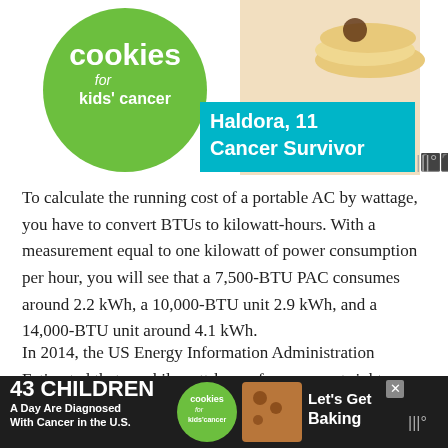[Figure (photo): Advertisement banner for 'Cookies for Kids' Cancer' charity featuring a green circle logo with the text 'cookies for kids' cancer', a teal box with 'Haldora, 11 Cancer Survivor', and a pancake/cookie food image in the background.]
To calculate the running cost of a portable AC by wattage, you have to convert BTUs to kilowatt-hours. With a measurement equal to one kilowatt of power consumption per hour, you will see that a 7,500-BTU PAC consumes around 2.2 kWh, a 10,000-BTU unit 2.9 kWh, and a 14,000-BTU unit around 4.1 kWh.
In 2014, the US Energy Information Administration Estimated that one kilowatt-hour of energy cost right around 16 cents in California. Using that estimate, running a small portable air conditioner for eight hours each day would cost $2.84. Running a medium portable air conditioner for eight hours would cost... would cost...
[Figure (photo): Bottom advertisement banner with dark background: '43 CHILDREN A Day Are Diagnosed With Cancer in the U.S.' with Cookies for Kids Cancer green circle logo and 'Let's Get Baking' text, with a cookie image and an X close button.]